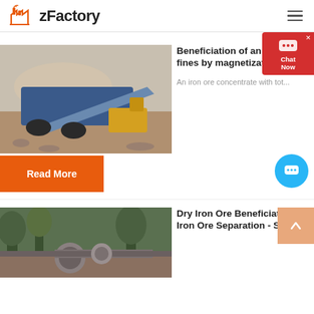zFactory
[Figure (photo): Mining crusher machine on a dirt/gravel site with dust in the air, orange and blue machinery]
Beneficiation of an iron ore fines by magnetization ...
An iron ore concentrate with tot...
Read More
[Figure (photo): Industrial pipe or roller machinery on a forested site]
Dry Iron Ore Beneficiation | Iron Ore Separation - ST